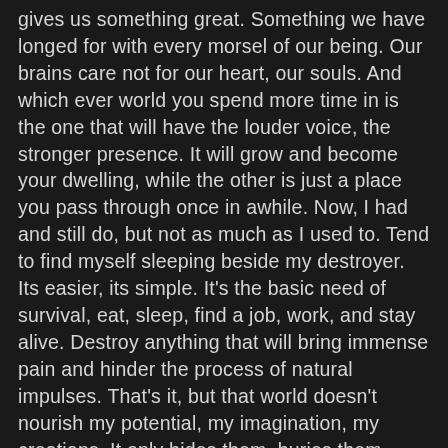gives us something great. Something we have longed for with every morsel of our being. Our brains care not for our heart, our souls. And which ever world you spend more time in is the one that will have the louder voice, the stronger presence. It will grow and become your dwelling, while the other is just a place you pass through once in awhile. Now, I had and still do, but not as much as I used to. Tend to find myself sleeping beside my destroyer. Its easier, its simple. It's the basic need of survival, eat, sleep, find a job, work, and stay alive. Destroy anything that will bring immense pain and hinder the process of natural impulses. That's it, but that world doesn't nourish my potential, my imagination, my creations. It only hides them, buries them beneath lie after lie. This world likes to pay the jester, always putting all my problems in life at the top, tricking me with sly thoughts of anxiety and sadness. Its like falling behind in class. You're homework builds up so you are constantly playing catch up. That's what my world